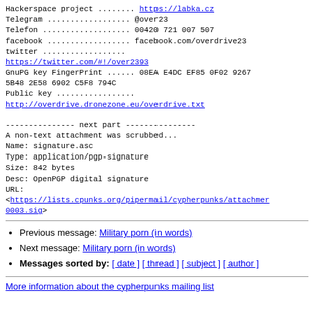Hackerspace project ........ https://labka.cz
Telegram .................. @over23
Telefon ................... 00420 721 007 507
facebook .................. facebook.com/overdrive23
twitter .................. 
https://twitter.com/#!/over2393
GnuPG key FingerPrint ...... 08EA E4DC EF85 0F02 9267 5B48 2E58 6902 C5F8 794C
Public key ................. 
http://overdrive.dronezone.eu/overdrive.txt
--------------- next part ---------------
A non-text attachment was scrubbed...
Name: signature.asc
Type: application/pgp-signature
Size: 842 bytes
Desc: OpenPGP digital signature
URL:
<https://lists.cpunks.org/pipermail/cypherpunks/attachments/...0003.sig>
Previous message: Military porn (in words)
Next message: Military porn (in words)
Messages sorted by: [ date ] [ thread ] [ subject ] [ author ]
More information about the cypherpunks mailing list